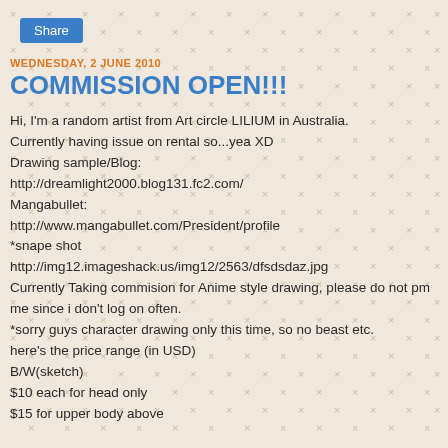Share
WEDNESDAY, 2 JUNE 2010
COMMISSION OPEN!!!
Hi, I'm a random artist from Art circle LILIUM in Australia. Currently having issue on rental so...yea XD
Drawing sample/Blog:
http://dreamlight2000.blog131.fc2.com/
Mangabullet:
http://www.mangabullet.com/President/profile
*snape shot
http://img12.imageshack.us/img12/2563/dfsdsdaz.jpg
Currently Taking commision for Anime style drawing, please do not pm me since i don't log on often.
*sorry guys character drawing only this time, so no beast etc.
here's the price range (in USD)
B/W(sketch)
$10 each for head only
$15 for upper body above